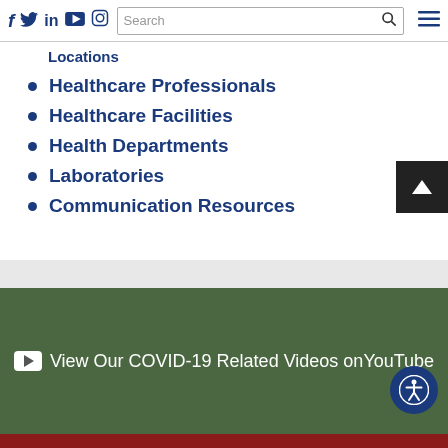Social icons: f, Twitter, in, YouTube, Instagram | Search bar | Menu
Locations
Healthcare Professionals
Healthcare Facilities
Health Departments
Laboratories
Communication Resources
View Our COVID-19 Related Videos on YouTube